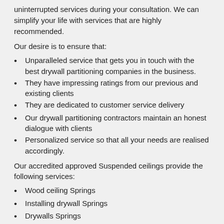uninterrupted services during your consultation. We can simplify your life with services that are highly recommended.
Our desire is to ensure that:
Unparalleled service that gets you in touch with the best drywall partitioning companies in the business.
They have impressing ratings from our previous and existing clients
They are dedicated to customer service delivery
Our drywall partitioning contractors maintain an honest dialogue with clients
Personalized service so that all your needs are realised accordingly.
Our accredited approved Suspended ceilings provide the following services:
Wood ceiling Springs
Installing drywall Springs
Drywalls Springs
Drywall ceiling Springs
Ceiling contractors Springs
Suspended ceilings Springs
Pvc ceiling sound insulation Springs
Ceiling repairs Springs
Drywall insulation Springs
Partitioning walls Springs
Ceiling companies suppliers supply Springs
Drywalling prices Springs